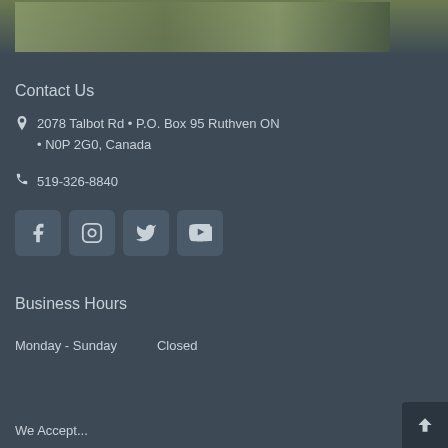[Figure (photo): Top decorative image strip with greenery/nature background]
Contact Us
2078 Talbot Rd • P.O. Box 95 Ruthven ON • N0P 2G0, Canada
519-326-8840
[Figure (infographic): Social media icons: Facebook, Instagram, Twitter, YouTube]
Business Hours
Monday - Sunday    Closed
We Accept...